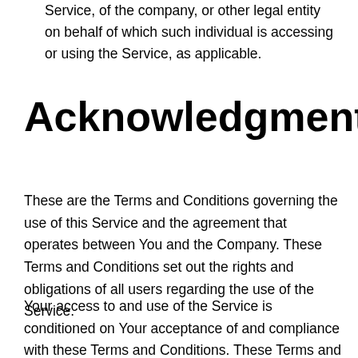Service, of the company, or other legal entity on behalf of which such individual is accessing or using the Service, as applicable.
Acknowledgment
These are the Terms and Conditions governing the use of this Service and the agreement that operates between You and the Company. These Terms and Conditions set out the rights and obligations of all users regarding the use of the Service.
Your access to and use of the Service is conditioned on Your acceptance of and compliance with these Terms and Conditions. These Terms and Conditions apply to all visitors, users and others who access or use the